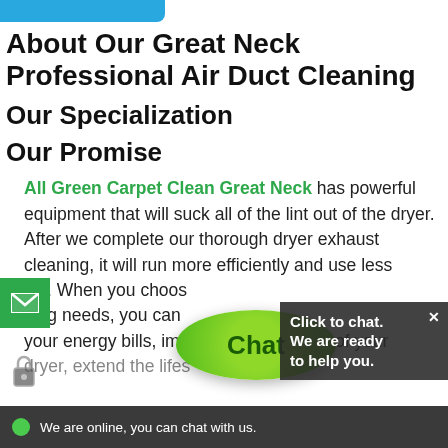[Figure (other): Blue rounded button/tab at top of page]
About Our Great Neck Professional Air Duct Cleaning
Our Specialization
Our Promise
All Green Carpet Clean Great Neck has powerful equipment that will suck all of the lint out of the dryer. After we complete our thorough dryer exhaust cleaning, it will run more efficiently and use less energy. When you choose our cleaning needs, you can your energy bills, improve the efficiency of your dryer, extend the lifes
[Figure (other): Green circular chat bubble with text 'Chat']
[Figure (other): Dark chat callout box reading 'Click to chat. We are ready to help you.' with X close button]
[Figure (other): Green envelope/email button on left side]
[Figure (other): Bottom dark bar with green dot and text 'We are online, you can chat with us.']